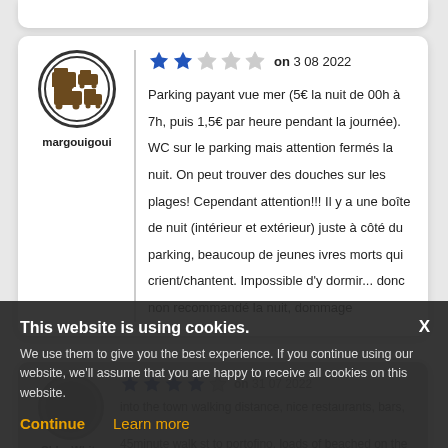margouigoui — 2 stars on 3 08 2022. Parking payant vue mer (5€ la nuit de 00h à 7h, puis 1,5€ par heure pendant la journée). WC sur le parking mais attention fermés la nuit. On peut trouver des douches sur les plages! Cependant attention!!! Il y a une boîte de nuit (intérieur et extérieur) juste à côté du parking, beaucoup de jeunes ivres morts qui crient/chantent. Impossible d'y dormir... donc non recommandé la nuit, dommage
ChloeWhite — 4 stars on 31 07 2022 (partial, cut off)
This website is using cookies. We use them to give you the best experience. If you continue using our website, we'll assume that you are happy to receive all cookies on this website. Continue | Learn more